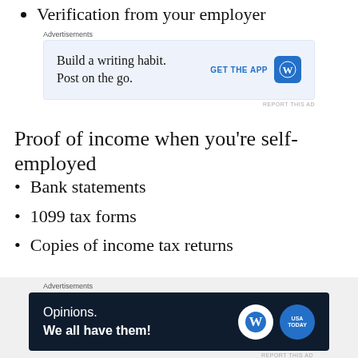Verification from your employer
[Figure (infographic): Advertisement banner: Build a writing habit. Post on the go. GET THE APP with WordPress logo icon.]
Proof of income when you’re self-employed
Bank statements
1099 tax forms
Copies of income tax returns
Eligibility Criteria
[Figure (infographic): Advertisement banner dark: Opinions. We all have them! with WordPress and USA Today logos.]